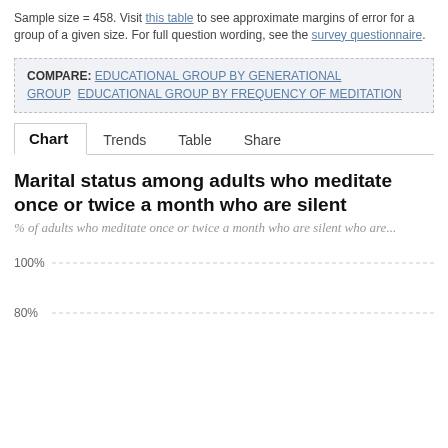Sample size = 458. Visit this table to see approximate margins of error for a group of a given size. For full question wording, see the survey questionnaire.
COMPARE: EDUCATIONAL GROUP BY GENERATIONAL GROUP   EDUCATIONAL GROUP BY FREQUENCY OF MEDITATION
Chart   Trends   Table   Share
Marital status among adults who meditate once or twice a month who are silent
% of adults who meditate once or twice a month who are silent who are...
[Figure (continuous-plot): Partial bar chart area showing gridlines at 100% and 80% levels, no bars visible in this cropped view]